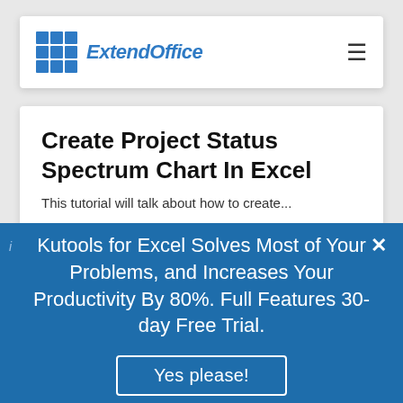ExtendOffice
Create Project Status Spectrum Chart In Excel
This tutorial will talk about how to create...
Kutools for Excel Solves Most of Your Problems, and Increases Your Productivity By 80%. Full Features 30-day Free Trial.
Yes please!